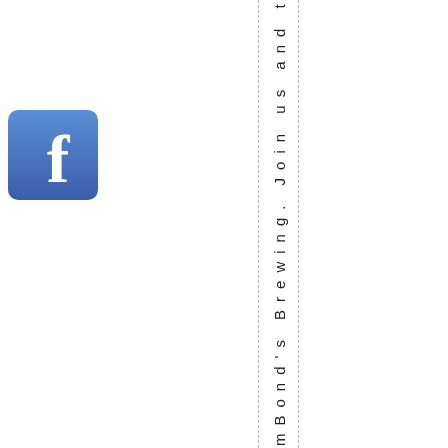[Figure (logo): Facebook logo icon — blue square with white lowercase 'f']
ndSamBond's Brewing. Join us and the k